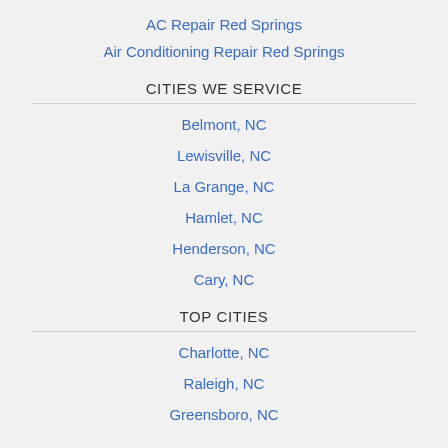AC Repair Red Springs
Air Conditioning Repair Red Springs
CITIES WE SERVICE
Belmont, NC
Lewisville, NC
La Grange, NC
Hamlet, NC
Henderson, NC
Cary, NC
TOP CITIES
Charlotte, NC
Raleigh, NC
Greensboro, NC